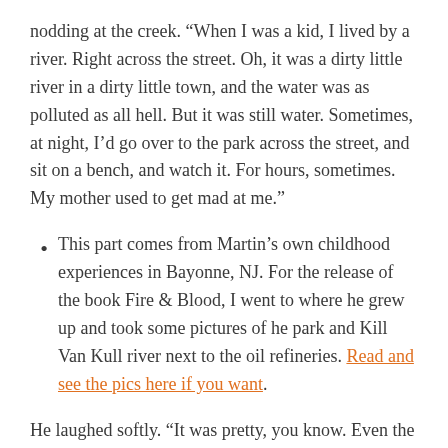nodding at the creek. “When I was a kid, I lived by a river. Right across the street. Oh, it was a dirty little river in a dirty little town, and the water was as polluted as all hell. But it was still water. Sometimes, at night, I’d go over to the park across the street, and sit on a bench, and watch it. For hours, sometimes. My mother used to get mad at me.”
This part comes from Martin’s own childhood experiences in Bayonne, NJ. For the release of the book Fire & Blood, I went to where he grew up and took some pictures of he park and Kill Van Kull river next to the oil refineries. Read and see the pics here if you want.
He laughed softly. “It was pretty, you know. Even the oil slicks were pretty. And it helped me think. I